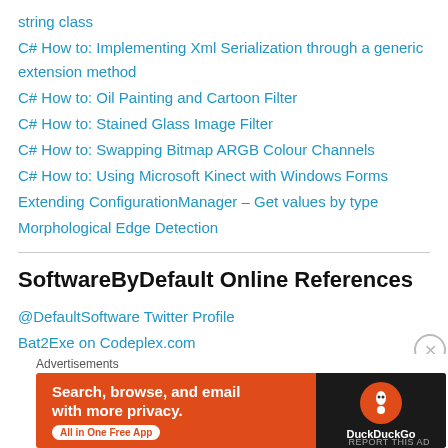string class
C# How to: Implementing Xml Serialization through a generic extension method
C# How to: Oil Painting and Cartoon Filter
C# How to: Stained Glass Image Filter
C# How to: Swapping Bitmap ARGB Colour Channels
C# How to: Using Microsoft Kinect with Windows Forms
Extending ConfigurationManager – Get values by type
Morphological Edge Detection
SoftwareByDefault Online References
@DefaultSoftware Twitter Profile
Bat2Exe on Codeplex.com
Bat2Exe on SourceForge.net
[Figure (screenshot): DuckDuckGo advertisement banner: orange background with text 'Search, browse, and email with more privacy. All in One Free App' and DuckDuckGo logo on dark right panel]